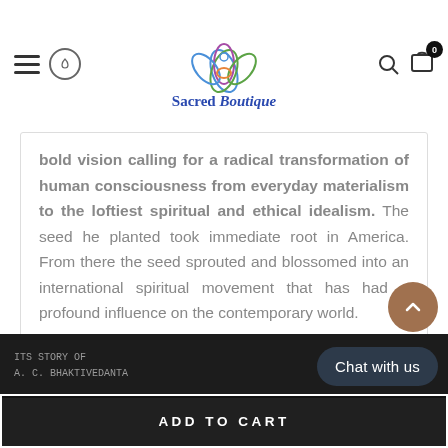Sacred Boutique
bold vision calling for a radical transformation of human consciousness from everyday materialism to the loftiest spiritual and ethical idealism. The seed he planted took immediate root in America. From there the seed sprouted and blossomed into an international spiritual movement that has had a profound influence on the contemporary world.
Related product
Top seller in the week
[Figure (screenshot): Dark product image area showing book cover partially visible with text 'A.C. BHAKTIVEDANTA']
ADD TO CART